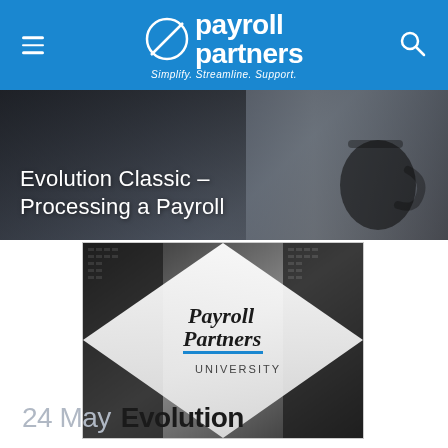Payroll Partners — Simplify. Streamline. Support.
Evolution Classic – Processing a Payroll
[Figure (logo): Payroll Partners University logo on a dark architectural background with skyscraper imagery]
24 May Evolution